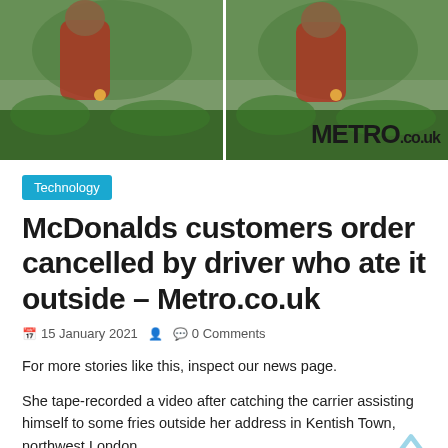[Figure (photo): Two side-by-side photos showing a person in red clothing near greenery/foliage outdoors, with METRO.co.uk logo watermark in the bottom right corner]
Technology
McDonalds customers order cancelled by driver who ate it outside – Metro.co.uk
15 January 2021   0 Comments
For more stories like this, inspect our news page.
She tape-recorded a video after catching the carrier assisting himself to some fries outside her address in Kentish Town, northwest London.